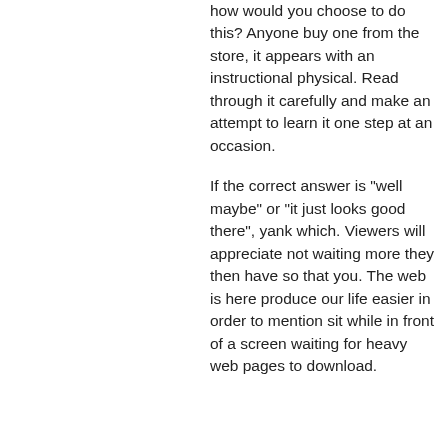how would you choose to do this? Anyone buy one from the store, it appears with an instructional physical. Read through it carefully and make an attempt to learn it one step at an occasion.
If the correct answer is "well maybe" or "it just looks good there", yank which. Viewers will appreciate not waiting more they then have so that you. The web is here produce our life easier in order to mention sit while in front of a screen waiting for heavy web pages to download.
| Label | Value |
| --- | --- |
| Created | 30 Jan 2018 |
| Total credit | 0 |
| Recent average credit | 0 |
| 14e credit | 0 total, 0.00 average (0 tasks) |
| 15e  small credit | 0 total, 0.00 average (0 tasks) |